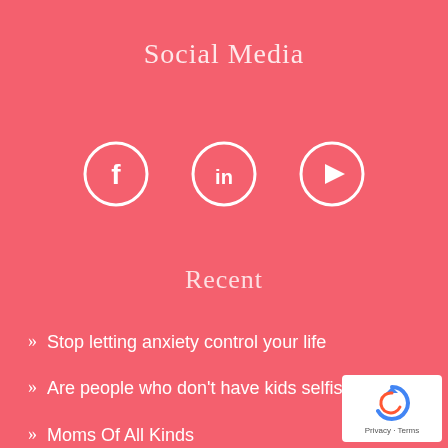Social Media
[Figure (illustration): Three white-outlined social media icons on pink background: Facebook (f), LinkedIn (in), and YouTube (play button)]
Recent
Stop letting anxiety control your life
Are people who don't have kids selfish?
Moms Of All Kinds
[Figure (logo): Google reCAPTCHA badge with Privacy and Terms links]